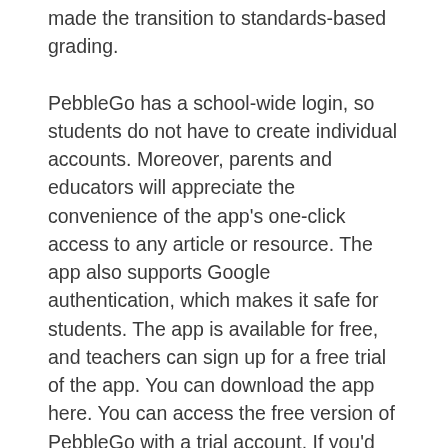made the transition to standards-based grading.
PebbleGo has a school-wide login, so students do not have to create individual accounts. Moreover, parents and educators will appreciate the convenience of the app's one-click access to any article or resource. The app also supports Google authentication, which makes it safe for students. The app is available for free, and teachers can sign up for a free trial of the app. You can download the app here. You can access the free version of PebbleGo with a trial account. If you'd like to try the tool out, sign up for the free trial version and download the application. You can try the app out today! It's worth a try.
A free version of PebbleGo supports dual language development and the digital divide. This